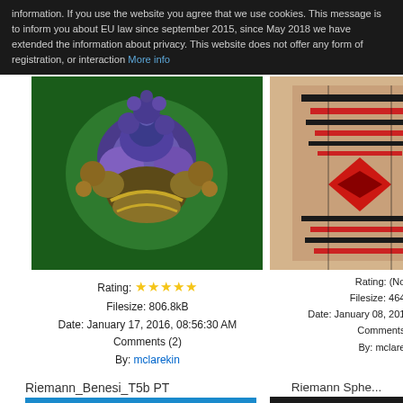information. If you use the website you agree that we use cookies. This message is to inform you about EU law since september 2015, since May 2018 we have extended the information about privacy. This website does not offer any form of registration, or interaction More info
[Figure (photo): Fractal art image on green background, ornate multi-colored creature-like form]
Rating: ★★★★★
Filesize: 806.8kB
Date: January 17, 2016, 08:56:30 AM
Comments (2)
By: mclarekin
[Figure (photo): Fractal art image in red and dark tones on tan background, partially cropped on right]
Rating: (No...
Filesize: 464...
Date: January 08, 201...
Comments ...
By: mclare...
Riemann_Benesi_T5b PT
[Figure (photo): Fractal art image on blue background, dark ornate form]
Riemann Sphe...
[Figure (photo): Fractal art image, green spherical forms on dark background, partially visible]